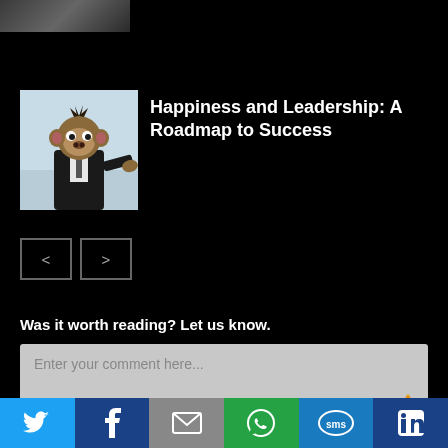[Figure (photo): Partial top image cropped at top of page, showing what appears to be a dark/shadowy image]
[Figure (photo): Thumbnail image of a chimpanzee dressed in a business suit, pointing forward, against a light blue background]
Happiness and Leadership: A Roadmap to Success
Was it worth reading? Let us know.
Enter your comment here...
Stay connected
[Figure (infographic): Social media share bar with Twitter, Facebook, Email, WhatsApp, SMS, and LinkedIn icons]